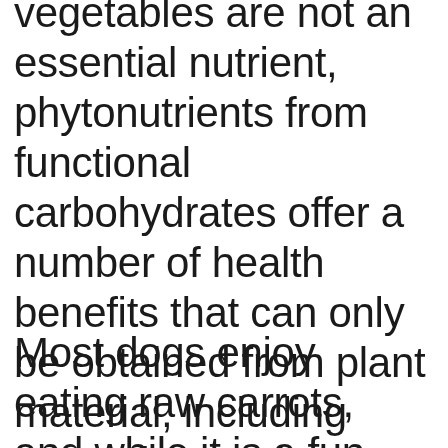vegetables are not an essential nutrient, phytonutrients from functional carbohydrates offer a number of health benefits that can only be obtained from plant material, including protection against disease and certain cancers. Therefore, more pet parents than ever choose to incorporate some vegetables in their dog's diet, and more veterinarians than ever recommend to add a small amount of vegetables to a dog's diet.
Most dogs enjoy eating raw carrots, and while it is a fun thing to do, and pet parents think they are providing a